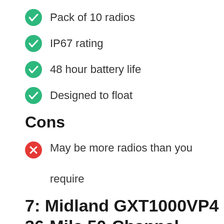Pack of 10 radios
IP67 rating
48 hour battery life
Designed to float
Cons
May be more radios than you require
7: Midland GXT1000VP4 36-Mile 50-Channel FRS/GMRS Two-Way